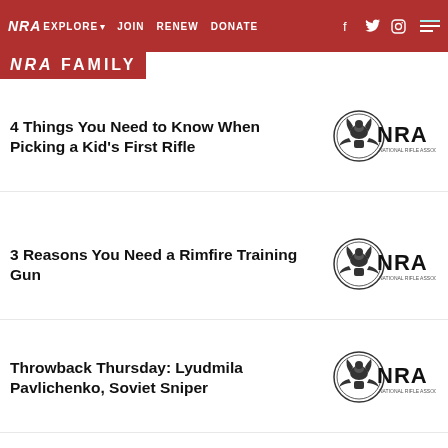NRA EXPLORE ▾  JOIN  RENEW  DONATE  [facebook] [twitter] [instagram] [menu]
NRA FAMILY
4 Things You Need to Know When Picking a Kid's First Rifle
[Figure (logo): NRA logo: eagle medallion with NRA text]
3 Reasons You Need a Rimfire Training Gun
[Figure (logo): NRA logo: eagle medallion with NRA text]
Throwback Thursday: Lyudmila Pavlichenko, Soviet Sniper
[Figure (logo): NRA logo: eagle medallion with NRA text]